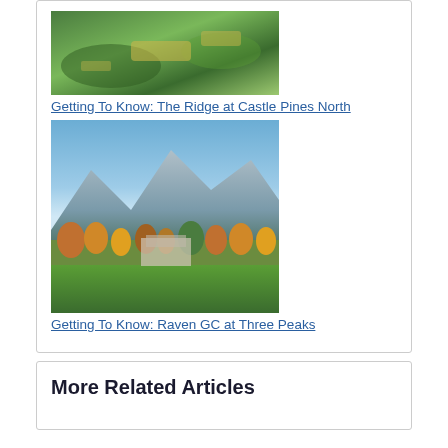[Figure (photo): Aerial/elevated view of a golf course with green fairways and bunkers]
Getting To Know: The Ridge at Castle Pines North
[Figure (photo): Mountain valley landscape with green golf course, trees with fall colors, and mountains in background]
Getting To Know: Raven GC at Three Peaks
More Related Articles
[Figure (logo): GolfingColorado.com logo with stylized golfer icon]
GolfingColorado.com is a golf directory featuring golf course directory and golf planning tools.
About  ||  Contact  ||  Privacy  ||  Terms